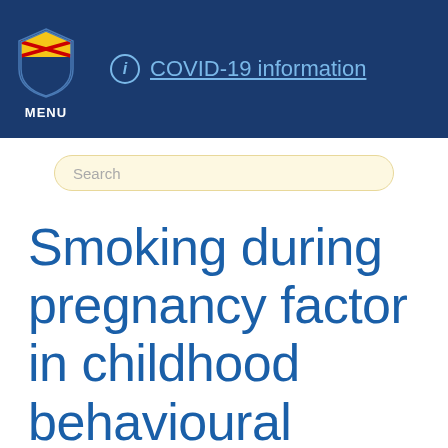ⓘ COVID-19 information
Search
Smoking during pregnancy factor in childhood behavioural disorders